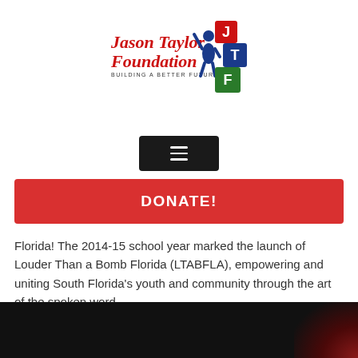[Figure (logo): Jason Taylor Foundation logo with red text 'Jason Taylor Foundation' and subtitle 'BUILDING A BETTER FUTURE', alongside a child figure stacking letter blocks J, T, F in red, blue and green]
[Figure (screenshot): Dark hamburger menu button (three horizontal lines) on black background]
DONATE!
Florida! The 2014-15 school year marked the launch of Louder Than a Bomb Florida (LTABFLA), empowering and uniting South Florida's youth and community through the art of the spoken word.
[Figure (photo): Dark/black image at bottom, likely a video thumbnail, with a reddish glow in the bottom right corner]